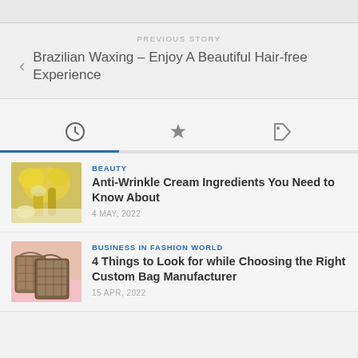PREVIOUS STORY
Brazilian Waxing – Enjoy A Beautiful Hair-free Experience
[Figure (other): Three tab icons: clock icon (active, with blue underline), star icon, and price tag icon]
[Figure (photo): Yellow flowers and glass oil bottle on white surface]
BEAUTY
Anti-Wrinkle Cream Ingredients You Need to Know About
4 MAY, 2022
[Figure (photo): Fashion handbags with checkered pattern on pink background]
BUSINESS IN FASHION WORLD
4 Things to Look for while Choosing the Right Custom Bag Manufacturer
15 APR, 2022